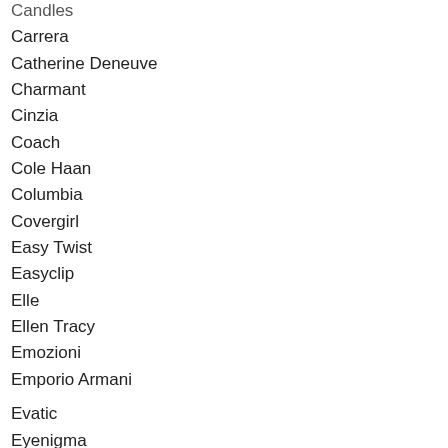Candles
Carrera
Catherine Deneuve
Charmant
Cinzia
Coach
Cole Haan
Columbia
Covergirl
Easy Twist
Easyclip
Elle
Ellen Tracy
Emozioni
Emporio Armani
Evatic
Eyenigma
Flexon
Fysh
Gant
Greg Norman